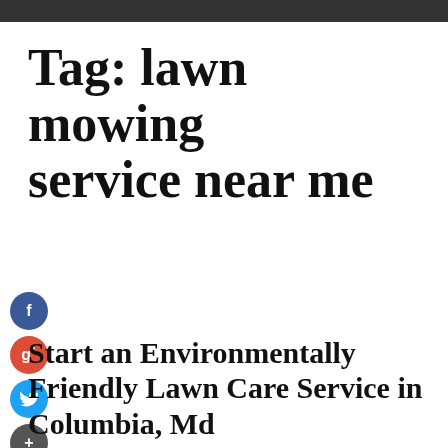Tag: lawn mowing service near me
[Figure (infographic): Social media share icons: Facebook (blue circle with f), Google+ (red circle with g+), Twitter (blue circle with bird), Plus/Add (dark circle with +)]
Start an Environmentally Friendly Lawn Care Service in Columbia, Md
September 29, 2020   Leave a comment   Riley